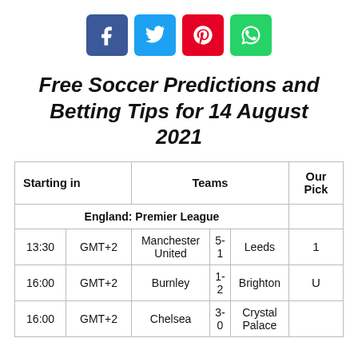[Figure (other): Social media share icons: Facebook (blue), Twitter (light blue), Pinterest (red), WhatsApp (green)]
Free Soccer Predictions and Betting Tips for 14 August 2021
| Starting in |  | Teams |  |  | Our Pick |
| --- | --- | --- | --- | --- | --- |
| England: Premier League |  |  |  |  |  |
| 13:30 | GMT+2 | Manchester United | 5-1 | Leeds | 1 |
| 16:00 | GMT+2 | Burnley | 1-2 | Brighton | U |
| 16:00 | GMT+2 | Chelsea | 3-0 | Crystal Palace |  |